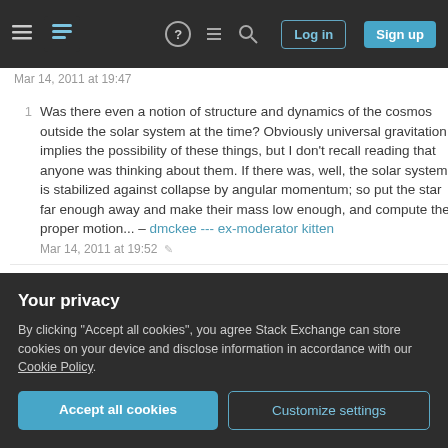Stack Exchange navigation bar with Log in and Sign up buttons
Mar 14, 2011 at 19:47
1  Was there even a notion of structure and dynamics of the cosmos outside the solar system at the time? Obviously universal gravitation implies the possibility of these things, but I don't recall reading that anyone was thinking about them. If there was, well, the solar system is stabilized against collapse by angular momentum; so put the star far enough away and make their mass low enough, and compute their proper motion... – dmckee --- ex-moderator kitten Mar 14, 2011 at 19:52
2  @Georg-- In the gravitational force equation, or equivalently in Laplace's equation, of course. Where else? It appears that Newton did believe in an infinite, homogeneous, static
Your privacy
By clicking "Accept all cookies", you agree Stack Exchange can store cookies on your device and disclose information in accordance with our Cookie Policy.
Accept all cookies   Customize settings